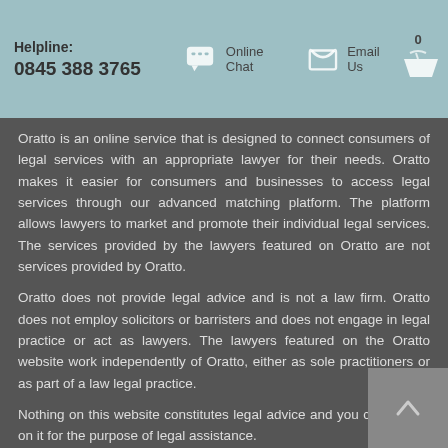Helpline: 0845 388 3765 | Online Chat | Email Us
Oratto is an online service that is designed to connect consumers of legal services with an appropriate lawyer for their needs. Oratto makes it easier for consumers and businesses to access legal services through our advanced matching platform. The platform allows lawyers to market and promote their individual legal services. The services provided by the lawyers featured on Oratto are not services provided by Oratto.
Oratto does not provide legal advice and is not a law firm. Oratto does not employ solicitors or barristers and does not engage in legal practice or act as lawyers. The lawyers featured on the Oratto website work independently of Oratto, either as sole practitioners or as part of a law legal practice.
Nothing on this website constitutes legal advice and you cannot rely on it for the purpose of legal assistance.
Oratto is unable to assist in matters concerning employment